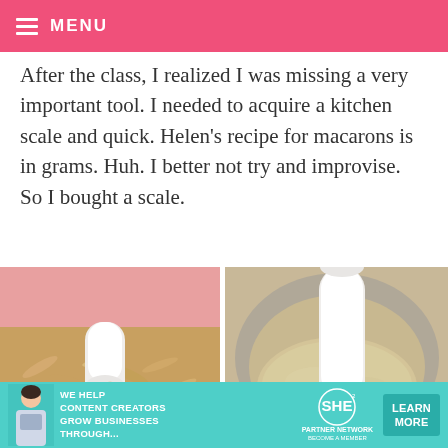MENU
After the class, I realized I was missing a very important tool. I needed to acquire a kitchen scale and quick. Helen’s recipe for macarons is in grams. Huh. I better not try and improvise. So I bought a scale.
[Figure (photo): Two food processor photos side by side: left shows slivered almonds in a food processor bowl, right shows ground almond flour in a food processor bowl]
[Figure (advertisement): SHE Partner Network ad banner: WE HELP CONTENT CREATORS GROW BUSINESSES THROUGH... BECOME A MEMBER, with LEARN MORE button]